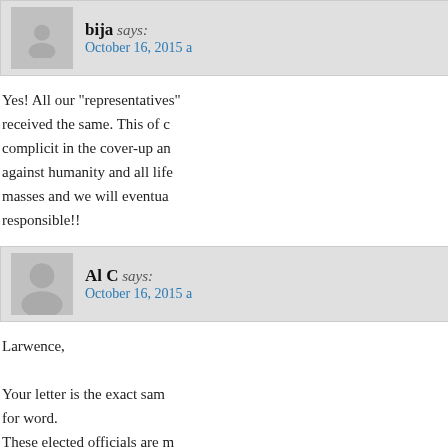bija says:
October 16, 2015 a
Yes! All our "representatives" received the same. This of course makes them complicit in the cover-up and crimes against humanity and all life. Truth reaches the masses and we will eventually hold those responsible!!
Al C says:
October 16, 2015 a
Larwence,
Your letter is the exact same for word.
These elected officials are m
I wrote her back and basicly homework and most import.